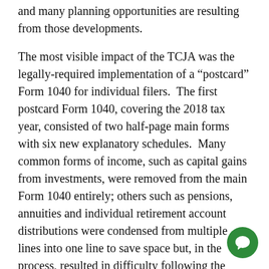and many planning opportunities are resulting from those developments.
The most visible impact of the TCJA was the legally-required implementation of a “postcard” Form 1040 for individual filers.  The first postcard Form 1040, covering the 2018 tax year, consisted of two half-page main forms with six new explanatory schedules.  Many common forms of income, such as capital gains from investments, were removed from the main Form 1040 entirely; others such as pensions, annuities and individual retirement account distributions were condensed from multiple lines into one line to save space but, in the process, resulted in difficulty following the sources of income.
For 2019, a revised draft postcard Form 1040 has been released that addresses many of the shortcomings of the 2018 version.  Each of its two pages is slightly over hal…